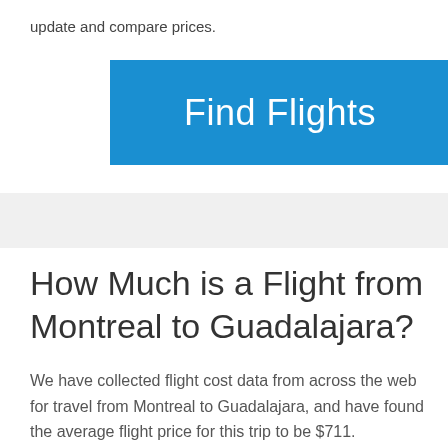update and compare prices.
[Figure (other): Blue 'Find Flights' button]
How Much is a Flight from Montreal to Guadalajara?
We have collected flight cost data from across the web for travel from Montreal to Guadalajara, and have found the average flight price for this trip to be $711.